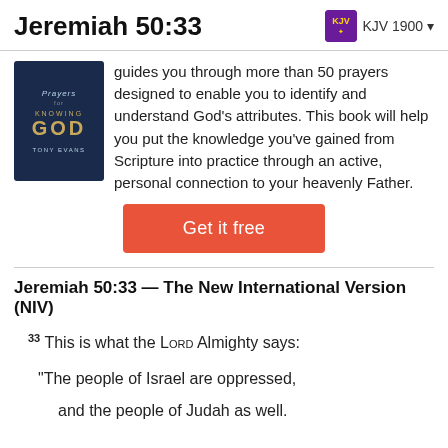Jeremiah 50:33   KJV 1900
[Figure (illustration): Book cover: 'Prayers for Knowing God' by Tony Evans, dark blue background with figure]
guides you through more than 50 prayers designed to enable you to identify and understand God's attributes. This book will help you put the knowledge you've gained from Scripture into practice through an active, personal connection to your heavenly Father.
[Figure (other): Get it free button (red/coral button)]
Jeremiah 50:33 — The New International Version (NIV)
33 This is what the Lord Almighty says:
“The people of Israel are oppressed,
and the people of Judah as well.